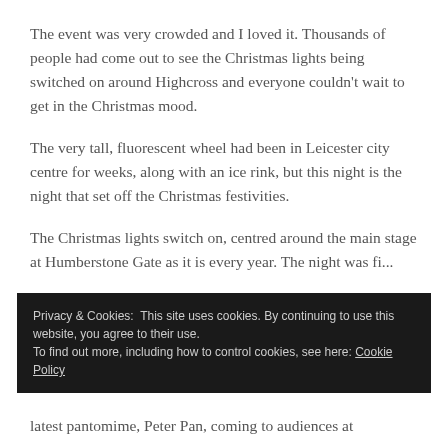The event was very crowded and I loved it. Thousands of people had come out to see the Christmas lights being switched on around Highcross and everyone couldn't wait to get in the Christmas mood.
The very tall, fluorescent wheel had been in Leicester city centre for weeks, along with an ice rink, but this night is the night that set off the Christmas festivities.
The Christmas lights switch on, centred around the main stage at Humberstone Gate as it is every year. The night was fi...
Privacy & Cookies: This site uses cookies. By continuing to use this website, you agree to their use.
To find out more, including how to control cookies, see here: Cookie Policy
Close and accept
latest pantomime, Peter Pan, coming to audiences at